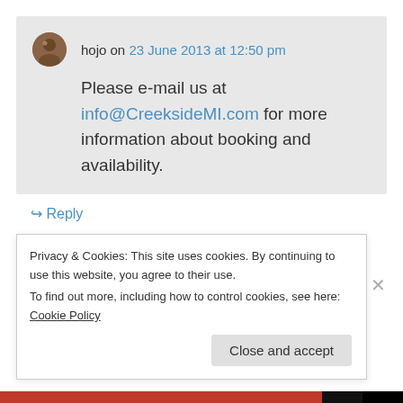hojo on 23 June 2013 at 12:50 pm
Please e-mail us at info@CreeksideMI.com for more information about booking and availability.
↳ Reply
View Full Site
Privacy & Cookies: This site uses cookies. By continuing to use this website, you agree to their use.
To find out more, including how to control cookies, see here: Cookie Policy
Close and accept